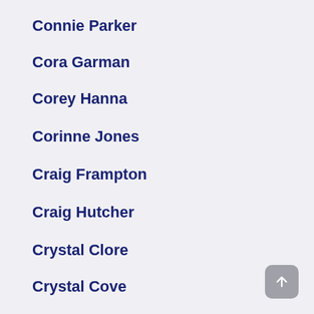Connie Parker
Cora Garman
Corey Hanna
Corinne Jones
Craig Frampton
Craig Hutcher
Crystal Clore
Crystal Cove
Cynthia Andrews
Dahrl Thorpe